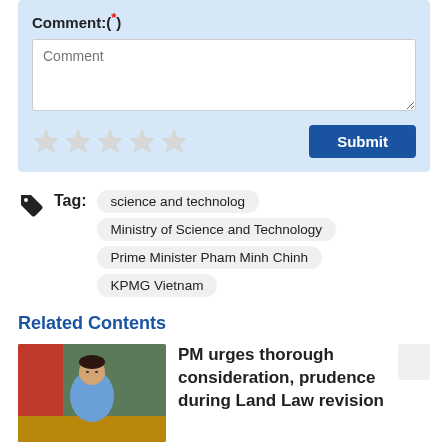Comment:(*)
Comment (textarea placeholder)
Submit
Tag: science and technolog | Ministry of Science and Technology | Prime Minister Pham Minh Chinh | KPMG Vietnam
Related Contents
[Figure (photo): Photo of a man in a blue shirt speaking at a government meeting, Vietnamese flag in background]
PM urges thorough consideration, prudence during Land Law revision